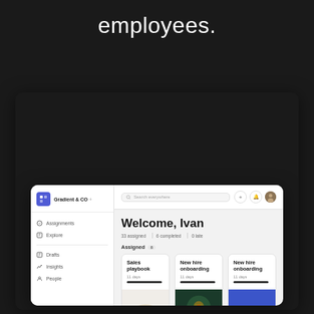employees.
[Figure (screenshot): App dashboard screenshot showing a learning management system UI. Left sidebar with 'Gradient & CO' brand, navigation items: Assignments, Explore, Drafts, Insights, People. Main area with topbar search and icons. Content shows 'Welcome, Ivan' heading, stats '33 assigned | 6 completed | 0 late', Assigned section with 3 cards (Sales playbook, New hire onboarding x2), Completed section with 3 more cards (Sales playbook, New hire onboarding x2).]